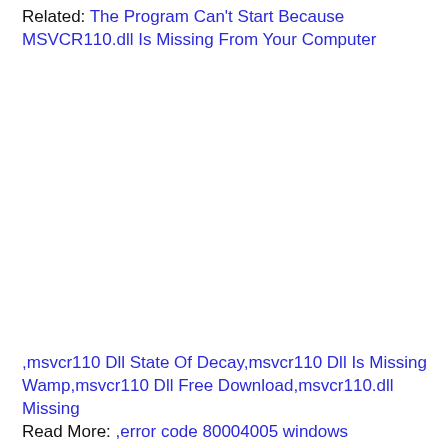Related: The Program Can't Start Because MSVCR110.dll Is Missing From Your Computer
,msvcr110 Dll State Of Decay,msvcr110 Dll Is Missing Wamp,msvcr110 Dll Free Download,msvcr110.dll Missing Read More: ,error code 80004005 windows 10,microsoft error 80004005,Windows Update error 0x80004005 for KB3087040,windows 10 update 80004005,Windows 10 Upgrade